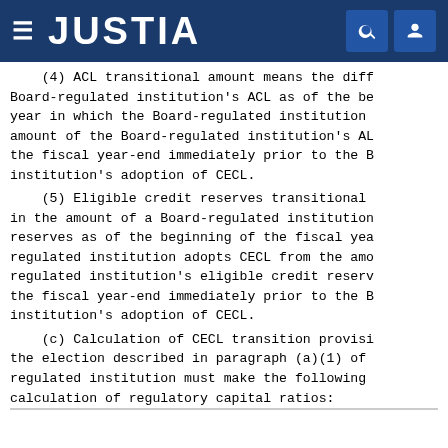JUSTIA
(4) ACL transitional amount means the difference between a Board-regulated institution's ACL as of the beginning of the fiscal year in which the Board-regulated institution adopts CECL from the amount of the Board-regulated institution's ACL as of the fiscal year-end immediately prior to the Board-regulated institution's adoption of CECL.
(5) Eligible credit reserves transitional amount means the difference in the amount of a Board-regulated institution's eligible credit reserves as of the beginning of the fiscal year in which the Board-regulated institution adopts CECL from the amount of the Board-regulated institution's eligible credit reserves as of the fiscal year-end immediately prior to the Board-regulated institution's adoption of CECL.
(c) Calculation of CECL transition provision. A Board-regulated institution that makes the election described in paragraph (a)(1) of this section must make the following calculation of regulatory capital ratios: